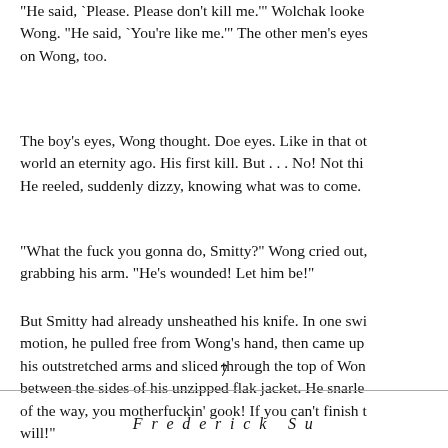"He said, `Please. Please don't kill me.'" Wolchak looked at Wong. "He said, `You're like me.'" The other men's eyes were on Wong, too.
The boy's eyes, Wong thought. Doe eyes. Like in that other world an eternity ago. His first kill. But . . . No! Not this! He reeled, suddenly dizzy, knowing what was to come.
"What the fuck you gonna do, Smitty?" Wong cried out, grabbing his arm. "He's wounded! Let him be!"
But Smitty had already unsheathed his knife. In one swift motion, he pulled free from Wong's hand, then came up under his outstretched arms and sliced through the top of Wong between the sides of his unzipped flak jacket. He snarled, of the way, you motherfuckin' gook! If you can't finish the job, I will!"
7
F r e d e r i c k  S u